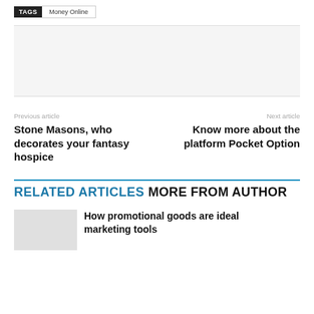TAGS  Money Online
Previous article
Next article
Stone Masons, who decorates your fantasy hospice
Know more about the platform Pocket Option
RELATED ARTICLES MORE FROM AUTHOR
How promotional goods are ideal marketing tools